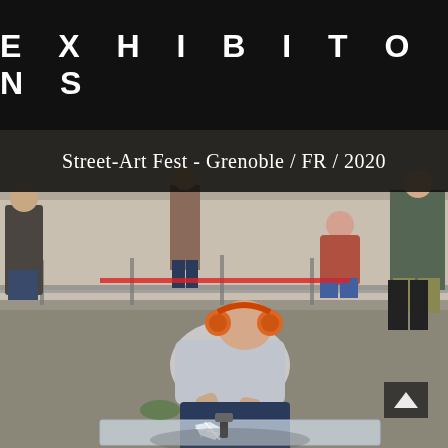EXHIBITONS
Street-Art Fest - Grenoble / FR / 2020
[Figure (photo): Outdoor photo of a man kneeling on the ground wearing orange ear protection headphones and a light gray t-shirt, hammering or working on a glass/mirror surface. Spectators stand and crouch behind metal crowd barriers in the background. Setting appears to be a street art festival outdoors on a paved area.]